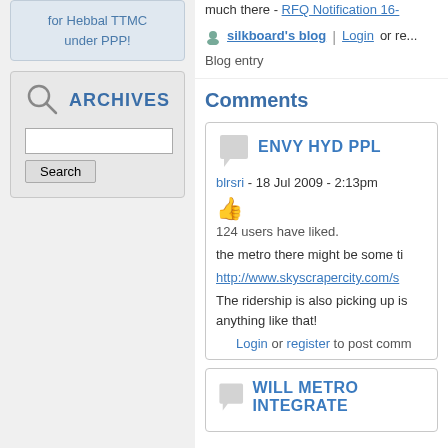for Hebbal TTMC under PPP!
ARCHIVES
Search
much there - RFQ Notification 16-
silkboard's blog | Login or re... Blog entry
Comments
ENVY HYD PPL
blrsri - 18 Jul 2009 - 2:13pm
124 users have liked.
the metro there might be some ti
http://www.skyscrapercity.com/s
The ridership is also picking up is anything like that!
Login or register to post comm
WILL METRO INTEGRATE